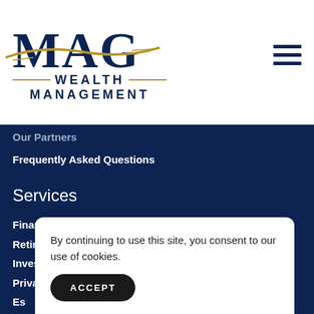[Figure (logo): MAG Wealth Management logo with gold arc swoosh and dashes flanking 'WEALTH']
Our Partners
Frequently Asked Questions
Services
Financial Planning
Retirement Planning
Investment Management
Private Client Services
Es...
Ta...
By continuing to use this site, you consent to our use of cookies.